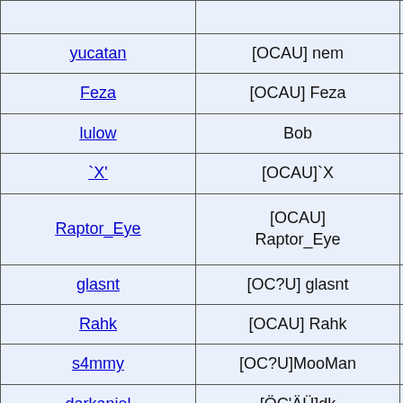| Username | In-game name | Classes |
| --- | --- | --- |
| yucatan | [OCAU] nem | Delicious Milk M… |
| Feza | [OCAU] Feza | Heavy!!!!! |
| lulow | Bob | Pyro, Engineer, Dem… |
| `X' | [OCAU]`X | Heavy, Engy, Medic… |
| Raptor_Eye | [OCAU] Raptor_Eye | Heavy,Medic,Pyro,Sold… |
| glasnt | [OC?U] glasnt | Look I'm higher in th… |
| Rahk | [OCAU] Rahk | Sniper, Soldier, Demom… |
| s4mmy | [OC?U]MooMan | Soldier, Demoman, … |
| darkanjel | [ÖC'ÄÜ]dk | Spy, soldier, demo, … |